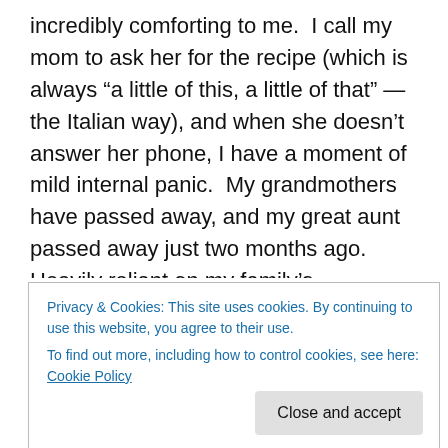incredibly comforting to me.  I call my mom to ask her for the recipe (which is always “a little of this, a little of that” — the Italian way), and when she doesn’t answer her phone, I have a moment of mild internal panic.  My grandmothers have passed away, and my great aunt passed away just two months ago.  Heavily reliant on my family’s matriarchs for culinary wisdom, who else is there to call?
Luckily, my mom calls back only a few minutes later.  She provides me with an outline of possible minestrone ingredients, approximately how much of each goes in,
Privacy & Cookies: This site uses cookies. By continuing to use this website, you agree to their use.
To find out more, including how to control cookies, see here: Cookie Policy
cooking or baking.  When it’s cookies, it’s Grandma Anne